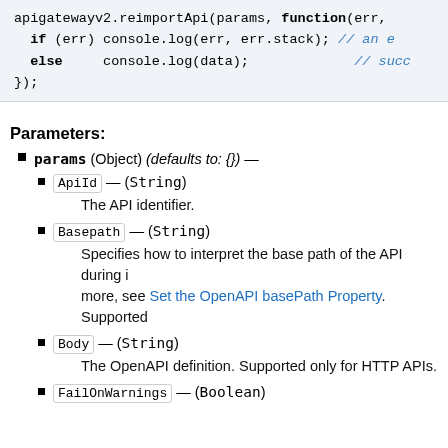[Figure (screenshot): Code block showing apigatewayv2.reimportApi call with callback function handling error and data]
Parameters:
params (Object) (defaults to: {}) —
ApiId — (String)
The API identifier.
Basepath — (String)
Specifies how to interpret the base path of the API during import. To learn more, see Set the OpenAPI basePath Property. Supported
Body — (String)
The OpenAPI definition. Supported only for HTTP APIs.
FailOnWarnings — (Boolean)